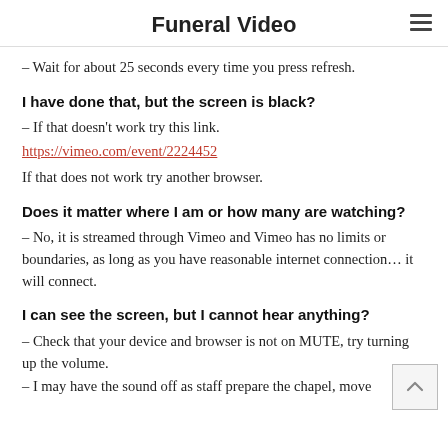Funeral Video
– Wait for about 25 seconds every time you press refresh.
I have done that, but the screen is black?
– If that doesn't work try this link.
https://vimeo.com/event/2224452
If that does not work try another browser.
Does it matter where I am or how many are watching?
– No, it is streamed through Vimeo and Vimeo has no limits or boundaries, as long as you have reasonable internet connection… it will connect.
I can see the screen, but I cannot hear anything?
– Check that your device and browser is not on MUTE, try turning up the volume.
– I may have the sound off as staff prepare the chapel, move